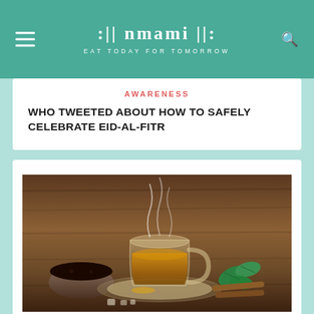nmami EAT TODAY FOR TOMORROW
AWARENESS
WHO TWEETED ABOUT HOW TO SAFELY CELEBRATE EID-AL-FITR
[Figure (photo): A steaming glass cup of herbal tea on a saucer, surrounded by spices in a bowl, mint leaves, and cinnamon sticks on a wooden surface]
FOOD